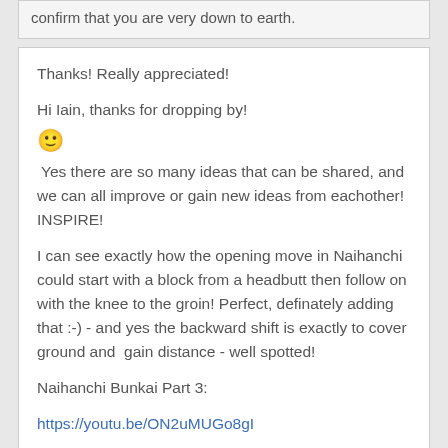confirm that you are very down to earth.
Thanks! Really appreciated!
Hi Iain, thanks for dropping by!
🙂
 Yes there are so many ideas that can be shared, and we can all improve or gain new ideas from eachother! INSPIRE!
I can see exactly how the opening move in Naihanchi could start with a block from a headbutt then follow on with the knee to the groin! Perfect, definately adding that :-) - and yes the backward shift is exactly to cover ground and  gain distance - well spotted!
Naihanchi Bunkai Part 3:
https://youtu.be/ON2uMUGo8gI
Log in or register to post comments